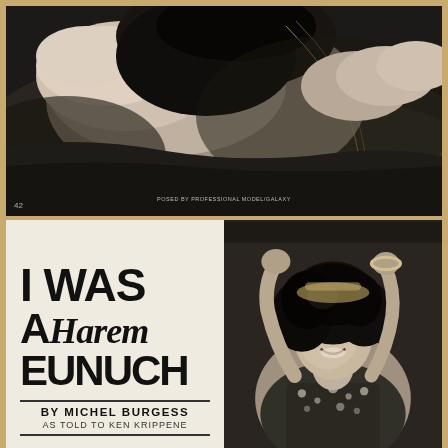[Figure (photo): Black and white photograph of a reclining woman seen from above, partial view, wearing minimal clothing with a chain/necklace visible. Page number 42 visible at bottom left. Photo credit reads POSED BY PROFESSIONAL MODEL/GALAXY.]
I WAS A Harem EUNUCH
BY MICHEL BURGESS
AS TOLD TO KEN KRIPPENE
[Figure (photo): Black and white photograph of a woman with dark curly hair, arms raised above her head, wearing a patterned dress or top, smiling at camera.]